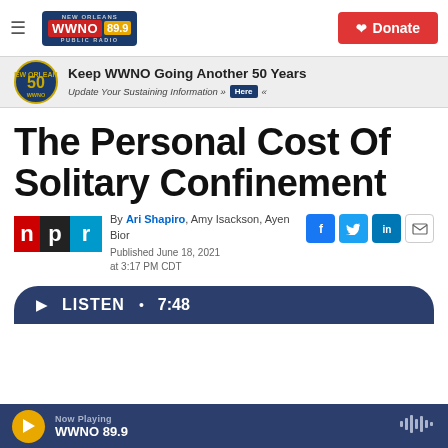WWNO 89.9 New Orleans Public Radio — Donate
[Figure (screenshot): Banner advertisement: Keep WWNO Going Another 50 Years — Update Your Sustaining Information — Here]
The Personal Cost Of Solitary Confinement
By Ari Shapiro, Amy Isackson, Ayen Bior — Published June 18, 2021 at 3:17 PM CDT
[Figure (logo): NPR logo]
[Figure (screenshot): Social sharing icons: Facebook, Twitter, LinkedIn, Email]
LISTEN • 7:48
Now Playing WWNO 89.9